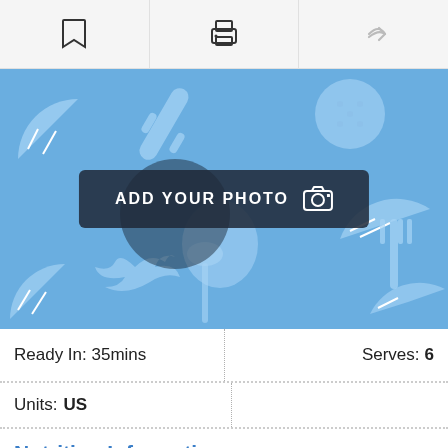[Figure (screenshot): Top toolbar with bookmark, print, and share icons]
[Figure (photo): Blue food-themed placeholder image with 'ADD YOUR PHOTO' button overlay and camera icon]
Ready In: 35mins
Serves: 6
Units: US
Nutrition Information